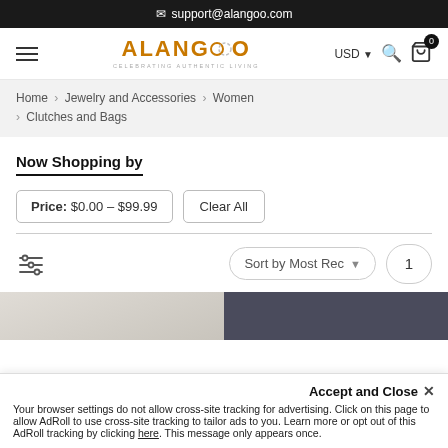✉ support@alangoo.com
[Figure (logo): ALANGOO logo with tagline CELEBRATING AUTHENTIC LIVING]
Home > Jewelry and Accessories > Women > Clutches and Bags
Now Shopping by
Price: $0.00 – $99.99
Clear All
Sort by Most Rec ▾   1
[Figure (screenshot): Partial product images at bottom of page]
Accept and Close ✕
Your browser settings do not allow cross-site tracking for advertising. Click on this page to allow AdRoll to use cross-site tracking to tailor ads to you. Learn more or opt out of this AdRoll tracking by clicking here. This message only appears once.